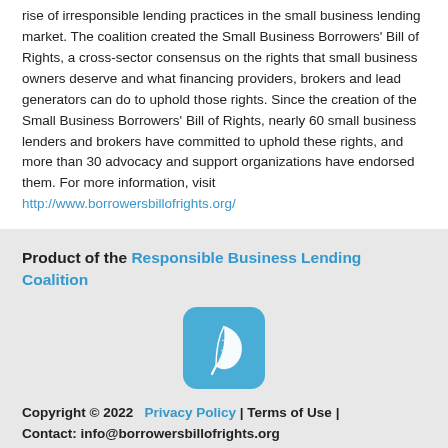rise of irresponsible lending practices in the small business lending market. The coalition created the Small Business Borrowers' Bill of Rights, a cross-sector consensus on the rights that small business owners deserve and what financing providers, brokers and lead generators can do to uphold those rights. Since the creation of the Small Business Borrowers' Bill of Rights, nearly 60 small business lenders and brokers have committed to uphold these rights, and more than 30 advocacy and support organizations have endorsed them. For more information, visit http://www.borrowersbillofrights.org/
Product of the Responsible Business Lending Coalition
[Figure (logo): Blue rounded-square logo with a white feather/quill icon in the center]
Copyright © 2022   Privacy Policy  |  Terms of Use  |  Contact: info@borrowersbillofrights.org